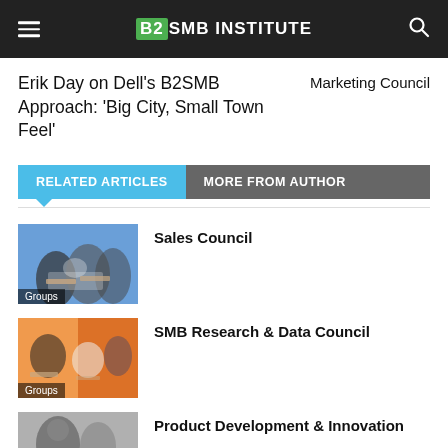B2SMB INSTITUTE
Erik Day on Dell's B2SMB Approach: ‘Big City, Small Town Feel’
Marketing Council
RELATED ARTICLES
MORE FROM AUTHOR
[Figure (photo): People shaking hands at a business event, with Groups label]
Sales Council
[Figure (photo): People at a meeting with orange background, with Groups label]
SMB Research & Data Council
[Figure (photo): Person with blurred background, with Groups label]
Product Development & Innovation